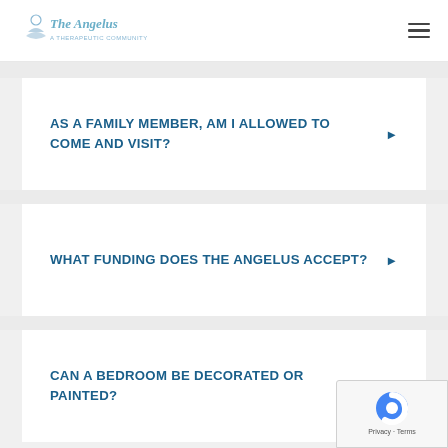The Angelus
AS A FAMILY MEMBER, AM I ALLOWED TO COME AND VISIT?
WHAT FUNDING DOES THE ANGELUS ACCEPT?
CAN A BEDROOM BE DECORATED OR PAINTED?